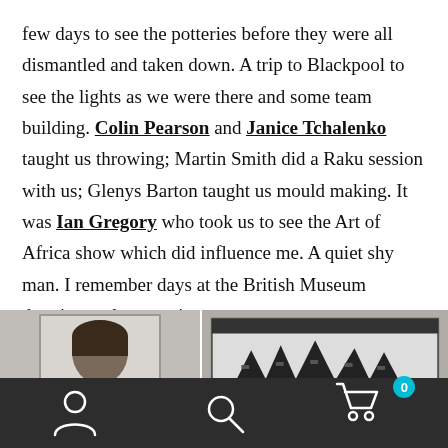few days to see the potteries before they were all dismantled and taken down. A trip to Blackpool to see the lights as we were there and some team building. Colin Pearson and Janice Tchalenko taught us throwing; Martin Smith did a Raku session with us; Glenys Barton taught us mould making. It was Ian Gregory who took us to see the Art of Africa show which did influence me. A quiet shy man. I remember days at the British Museum drawing early ceramics.
[Figure (photo): Black and white photo strip showing two images: left image is a portrait of a person with dark hair, right image shows a decorative ceramic or artwork with leaf/plant motifs in black and white pattern.]